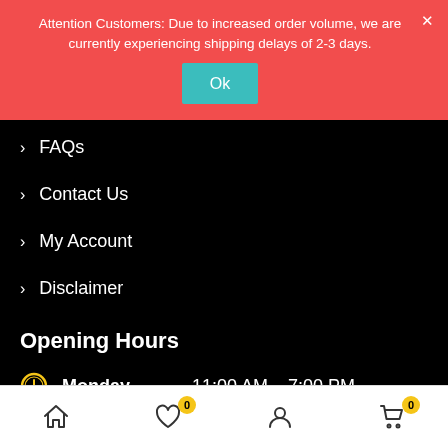Attention Customers: Due to increased order volume, we are currently experiencing shipping delays of 2-3 days.
FAQs
Contact Us
My Account
Disclaimer
Opening Hours
Monday   11:00 AM – 7:00 PM
Tuesday   Closed
Wednesday   11:00 AM – 7:00 PM